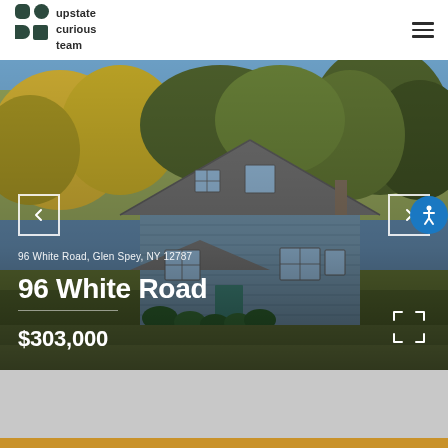[Figure (logo): Upstate Curious Team logo with two rounded square/circle shapes in dark green and text 'upstate curious team']
[Figure (photo): Exterior photo of a blue/grey sided two-story house with grey roof, surrounded by autumn trees and green lawn, at 96 White Road, Glen Spey, NY 12787]
96 White Road, Glen Spey, NY 12787
96 White Road
$303,000